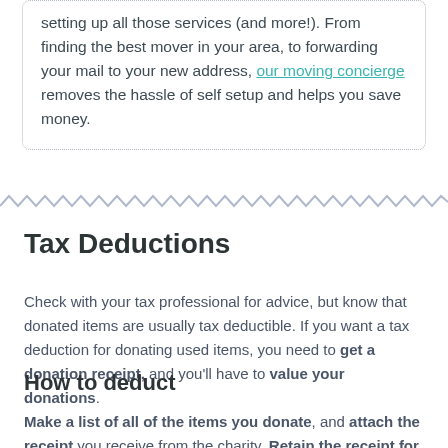setting up all those services (and more!). From finding the best mover in your area, to forwarding your mail to your new address, our moving concierge removes the hassle of self setup and helps you save money.
[Figure (other): Decorative zigzag/wavy divider line in light gray/purple color spanning full width]
Tax Deductions
Check with your tax professional for advice, but know that donated items are usually tax deductible. If you want a tax deduction for donating used items, you need to get a donation receipt, and you'll have to value your donations.
How to deduct
Make a list of all of the items you donate, and attach the receipt you receive from the charity. Retain the receipt for